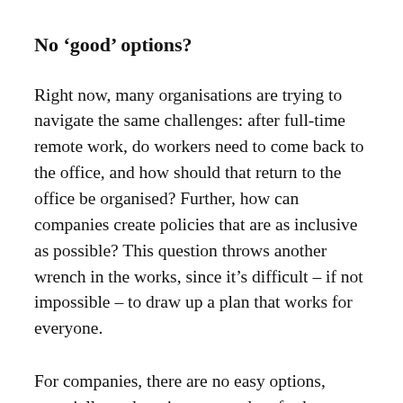No ‘good’ options?
Right now, many organisations are trying to navigate the same challenges: after full-time remote work, do workers need to come back to the office, and how should that return to the office be organised? Further, how can companies create policies that are as inclusive as possible? This question throws another wrench in the works, since it’s difficult – if not impossible – to draw up a plan that works for everyone.
For companies, there are no easy options, especially as there is no precedent for how to